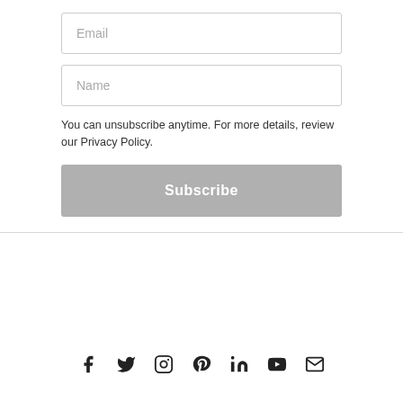Email
Name
You can unsubscribe anytime. For more details, review our Privacy Policy.
Subscribe
[Figure (infographic): Row of social media icons: Facebook, Twitter, Instagram, Pinterest, LinkedIn, YouTube, Mail]